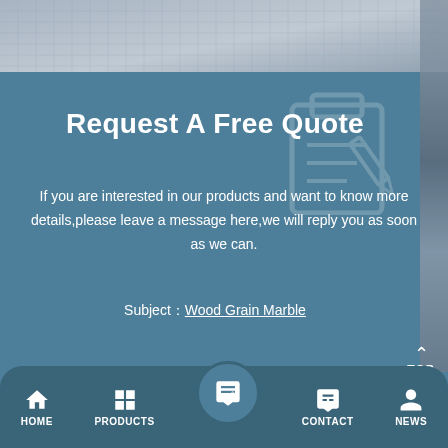[Figure (photo): Top portion shows a building facade with metallic/glass panel pattern in gray tones, with right side strip of similar building texture]
Request A Free Quote
If you are interested in our products and want to know more details,please leave a message here,we will reply you as soon as we can.
Subject : Wood Grain Marble
[Figure (screenshot): Bottom navigation bar with HOME, PRODUCTS, (quote icon active center), CONTACT, NEWS icons]
HOME  PRODUCTS  CONTACT  NEWS